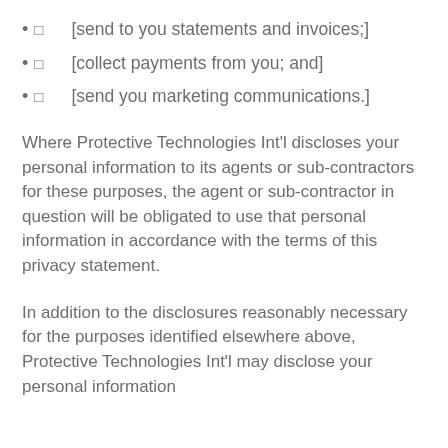☐   [send to you statements and invoices;]
☐   [collect payments from you; and]
☐   [send you marketing communications.]
Where Protective Technologies Int'l discloses your personal information to its agents or sub-contractors for these purposes, the agent or sub-contractor in question will be obligated to use that personal information in accordance with the terms of this privacy statement.
In addition to the disclosures reasonably necessary for the purposes identified elsewhere above, Protective Technologies Int'l may disclose your personal information